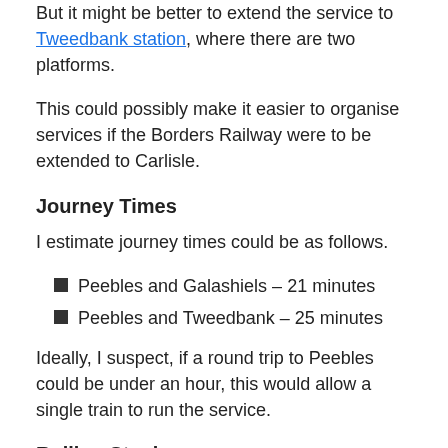But it might be better to extend the service to Tweedbank station, where there are two platforms.
This could possibly make it easier to organise services if the Borders Railway were to be extended to Carlisle.
Journey Times
I estimate journey times could be as follows.
Peebles and Galashiels – 21 minutes
Peebles and Tweedbank – 25 minutes
Ideally, I suspect, if a round trip to Peebles could be under an hour, this would allow a single train to run the service.
Rolling Stock
Surely,the ideal train for this route would be one of the very light rail trains, proposed for Coventry by Warwick